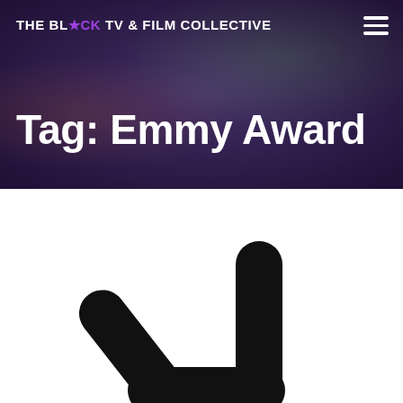THE BL★CK TV & FILM COLLECTIVE
Tag: Emmy Award
[Figure (logo): Black TV & Film Collective logo icon — a stylized black arrow/play-button shape on white background]